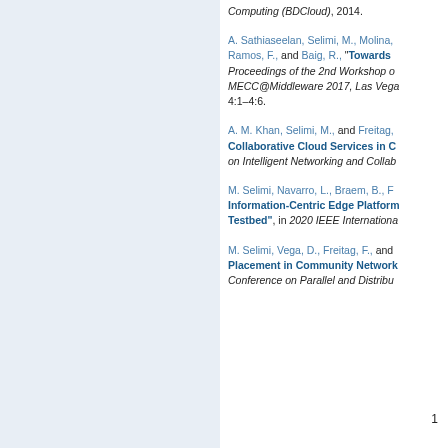Computing (BDCloud), 2014.
A. Sathiaseelan, Selimi, M., Molina, Ramos, F., and Baig, R., "Towards ... Proceedings of the 2nd Workshop on MECC@Middleware 2017, Las Vegas, 4:1–4:6.
A. M. Khan, Selimi, M., and Freitag, Collaborative Cloud Services in C... on Intelligent Networking and Collab...
M. Selimi, Navarro, L., Braem, B., F... Information-Centric Edge Platform... Testbed", in 2020 IEEE Internationa...
M. Selimi, Vega, D., Freitag, F., and Placement in Community Network... Conference on Parallel and Distribu...
1